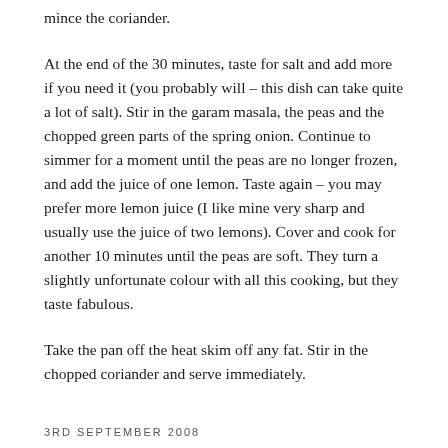mince the coriander.
At the end of the 30 minutes, taste for salt and add more if you need it (you probably will – this dish can take quite a lot of salt). Stir in the garam masala, the peas and the chopped green parts of the spring onion. Continue to simmer for a moment until the peas are no longer frozen, and add the juice of one lemon. Taste again – you may prefer more lemon juice (I like mine very sharp and usually use the juice of two lemons). Cover and cook for another 10 minutes until the peas are soft. They turn a slightly unfortunate colour with all this cooking, but they taste fabulous.
Take the pan off the heat skim off any fat. Stir in the chopped coriander and serve immediately.
3RD SEPTEMBER 2008